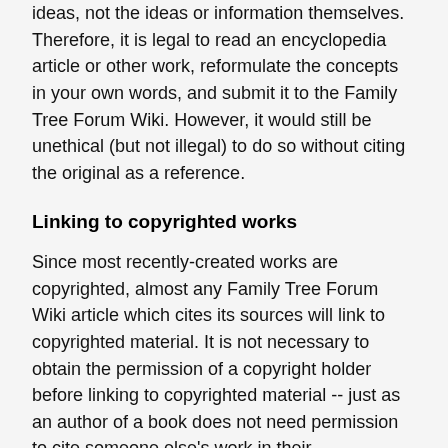ideas, not the ideas or information themselves. Therefore, it is legal to read an encyclopedia article or other work, reformulate the concepts in your own words, and submit it to the Family Tree Forum Wiki. However, it would still be unethical (but not illegal) to do so without citing the original as a reference.
Linking to copyrighted works
Since most recently-created works are copyrighted, almost any Family Tree Forum Wiki article which cites its sources will link to copyrighted material. It is not necessary to obtain the permission of a copyright holder before linking to copyrighted material -- just as an author of a book does not need permission to cite someone else's work in their bibliography. Likewise, the Family Tree Forum Wiki is not restricted to linking only to GFDL-free or open-source content.